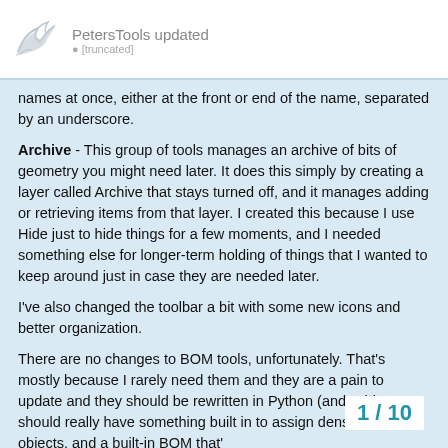PetersTools updated
names at once, either at the front or end of the name, separated by an underscore.
Archive - This group of tools manages an archive of bits of geometry you might need later. It does this simply by creating a layer called Archive that stays turned off, and it manages adding or retrieving items from that layer. I created this because I use Hide just to hide things for a few moments, and I needed something else for longer-term holding of things that I wanted to keep around just in case they are needed later.
I've also changed the toolbar a bit with some new icons and better organization.
There are no changes to BOM tools, unfortunately. That's mostly because I rarely need them and they are a pain to update and they should be rewritten in Python (and, Rhino should really have something built in to assign density to objects, and a built-in BOM that'
1 / 10